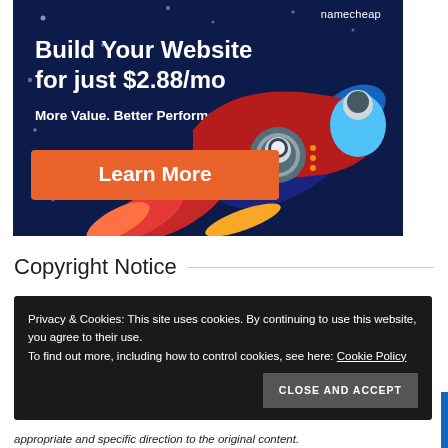[Figure (illustration): Namecheap advertisement banner with dark navy background. Text reads 'Build Your Website for just $2.88/mo' and 'More Value. Better Performance' with an orange 'Learn More' button and rocket/astronaut illustration. Namecheap logo in top right corner.]
Copyright Notice
Privacy & Cookies: This site uses cookies. By continuing to use this website, you agree to their use.
To find out more, including how to control cookies, see here: Cookie Policy
CLOSE AND ACCEPT
appropriate and specific direction to the original content.